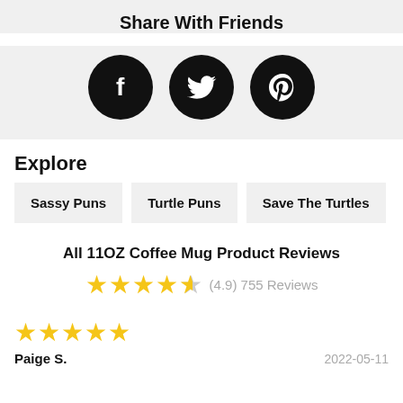Share With Friends
[Figure (infographic): Three black circular social media icons: Facebook (f), Twitter (bird), Pinterest (p)]
Explore
Sassy Puns
Turtle Puns
Save The Turtles
All 11OZ Coffee Mug Product Reviews
(4.9) 755 Reviews
Paige S.
2022-05-11